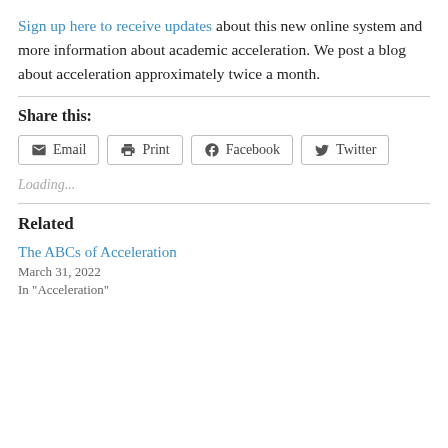Sign up here to receive updates about this new online system and more information about academic acceleration. We post a blog about acceleration approximately twice a month.
Share this:
Email  Print  Facebook  Twitter
Loading...
Related
The ABCs of Acceleration
March 31, 2022
In "Acceleration"